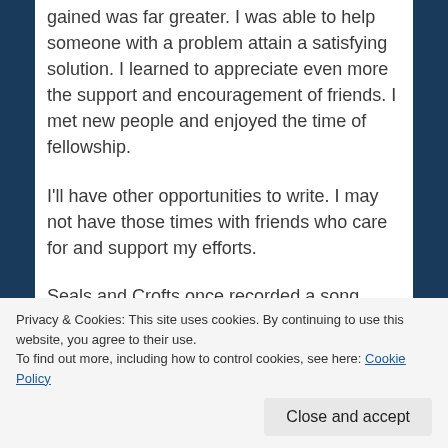gained was far greater. I was able to help someone with a problem attain a satisfying solution. I learned to appreciate even more the support and encouragement of friends. I met new people and enjoyed the time of fellowship.
I'll have other opportunities to write. I may not have those times with friends who care for and support my efforts.
Seals and Crofts once recorded a song titled, “We May Never Pass This Way Again.” I’ll leave you with the video.
[Figure (screenshot): Video thumbnail showing a black bar at top and green/red image at bottom]
Privacy & Cookies: This site uses cookies. By continuing to use this website, you agree to their use.
To find out more, including how to control cookies, see here: Cookie Policy